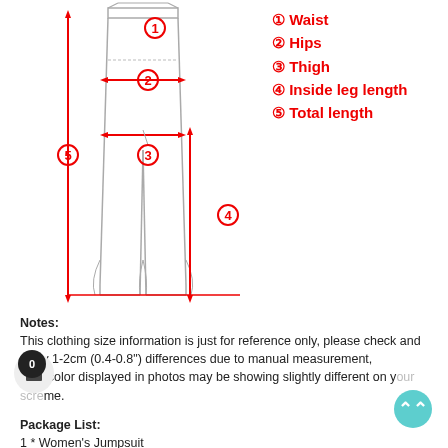[Figure (illustration): Diagram of pants/jumpsuit with measurement lines labeled 1 through 5 in red circles. Measurement 1 at waist top, 2 at hips with horizontal arrow, 3 at thigh with horizontal arrow, 4 showing inside leg length vertical arrow, 5 showing total length vertical arrow on the left side.]
① Waist
② Hips
③ Thigh
④ Inside leg length
⑤ Total length
Notes:
This clothing size information is just for reference only, please check and allow 1-2cm (0.4-0.8") differences due to manual measurement,
Item color displayed in photos may be showing slightly different on your screen.
Package List:
1 * Women's Jumpsuit